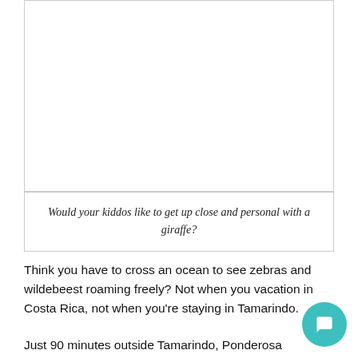[Figure (photo): A white/blank image area showing a giraffe encounter photo (image content not visible in this crop)]
Would your kiddos like to get up close and personal with a giraffe?
Think you have to cross an ocean to see zebras and wildebeest roaming freely? Not when you vacation in Costa Rica, not when you're staying in Tamarindo.
Just 90 minutes outside Tamarindo, Ponderosa